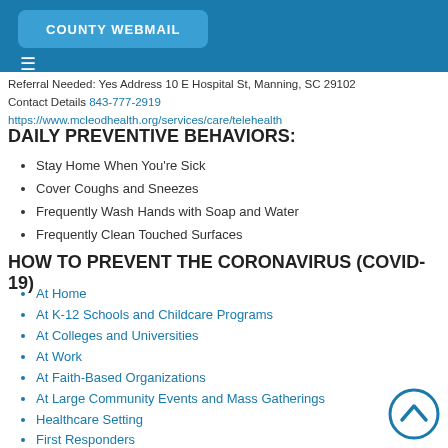COUNTY WEBMAIL
Referral Needed: Yes Address 10 E Hospital St, Manning, SC 29102 Contact Details 843-777-2919 https://www.mcleodhealth.org/services/care/telehealth
DAILY PREVENTIVE BEHAVIORS:
Stay Home When You're Sick
Cover Coughs and Sneezes
Frequently Wash Hands with Soap and Water
Frequently Clean Touched Surfaces
HOW TO PREVENT THE CORONAVIRUS (COVID-19)
At Home
At K-12 Schools and Childcare Programs
At Colleges and Universities
At Work
At Faith-Based Organizations
At Large Community Events and Mass Gatherings
Healthcare Setting
First Responders